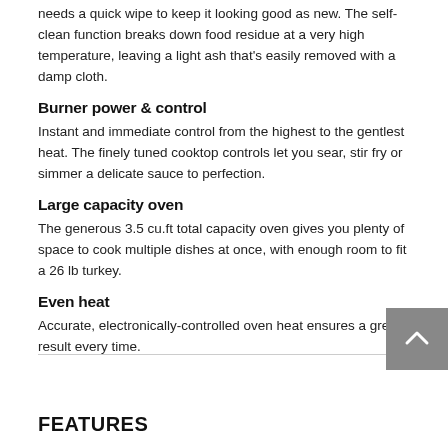needs a quick wipe to keep it looking good as new. The self-clean function breaks down food residue at a very high temperature, leaving a light ash that's easily removed with a damp cloth.
Burner power & control
Instant and immediate control from the highest to the gentlest heat. The finely tuned cooktop controls let you sear, stir fry or simmer a delicate sauce to perfection.
Large capacity oven
The generous 3.5 cu.ft total capacity oven gives you plenty of space to cook multiple dishes at once, with enough room to fit a 26 lb turkey.
Even heat
Accurate, electronically-controlled oven heat ensures a great result every time.
FEATURES